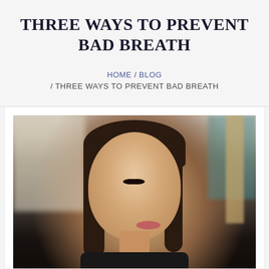THREE WAYS TO PREVENT BAD BREATH
HOME / BLOG / THREE WAYS TO PREVENT BAD BREATH
[Figure (photo): Young woman with brown hair in black turtleneck making a kissing/puckered lips expression, photographed outdoors with blurred background]